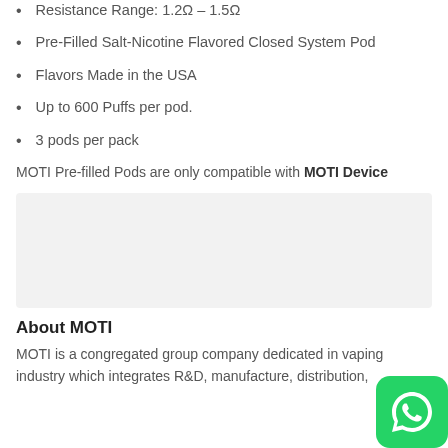Resistance Range: 1.2Ω – 1.5Ω
Pre-Filled Salt-Nicotine Flavored Closed System Pod
Flavors Made in the USA
Up to 600 Puffs per pod.
3 pods per pack
MOTI Pre-filled Pods are only compatible with MOTI Device
[Figure (other): Gray placeholder/image box]
About MOTI
MOTI is a congregated group company dedicated in vaping industry which integrates R&D, manufacture, distribution,